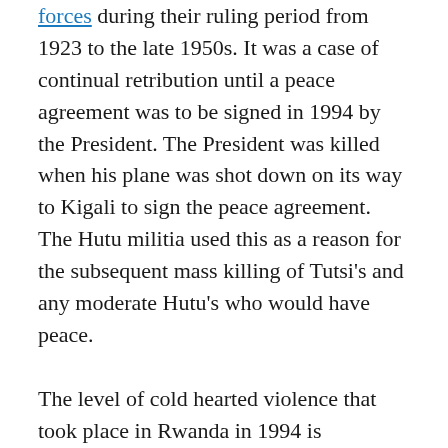forces during their ruling period from 1923 to the late 1950s. It was a case of continual retribution until a peace agreement was to be signed in 1994 by the President. The President was killed when his plane was shot down on its way to Kigali to sign the peace agreement. The Hutu militia used this as a reason for the subsequent mass killing of Tutsi's and any moderate Hutu's who would have peace.
The level of cold hearted violence that took place in Rwanda in 1994 is unfathomable by any standard. This film touches on it but it can't reveal the true extent of the misery and hate involved. It has inspired me to spend a lot of time reading about the events and understanding the shameful lack of